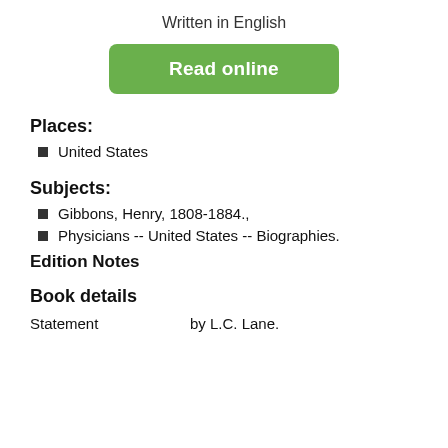Written in English
Read online
Places:
United States
Subjects:
Gibbons, Henry, 1808-1884.,
Physicians -- United States -- Biographies.
Edition Notes
Book details
Statement    by L.C. Lane.